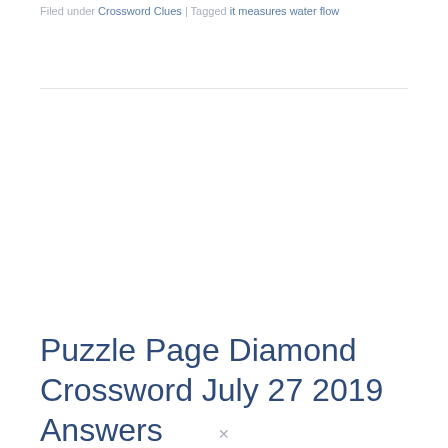Filed under Crossword Clues | Tagged it measures water flow
Puzzle Page Diamond Crossword July 27 2019 Answers